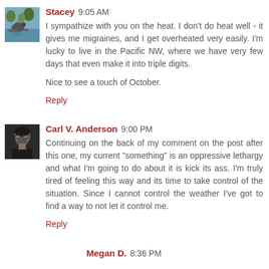Stacey 9:05 AM
I sympathize with you on the heat. I don't do heat well - it gives me migraines, and I get overheated very easily. I'm lucky to live in the Pacific NW, where we have very few days that even make it into triple digits.

Nice to see a touch of October.
Reply
Carl V. Anderson 9:00 PM
Continuing on the back of my comment on the post after this one, my current "something" is an oppressive lethargy and what I'm going to do about it is kick its ass. I'm truly tired of feeling this way and its time to take control of the situation. Since I cannot control the weather I've got to find a way to not let it control me.
Reply
Megan D. 8:36 PM